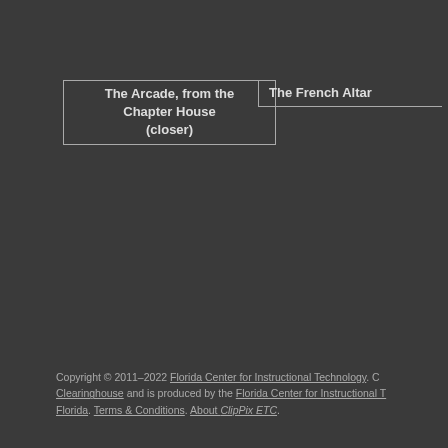The Arcade, from the Chapter House (closer)
The French Altar
Copyright © 2011–2022 Florida Center for Instructional Technology. Clipart ETC is a part of the Educational Technology Clearinghouse and is produced by the Florida Center for Instructional Technology, College of Education, University of South Florida. Terms & Conditions. About ClipPix ETC.